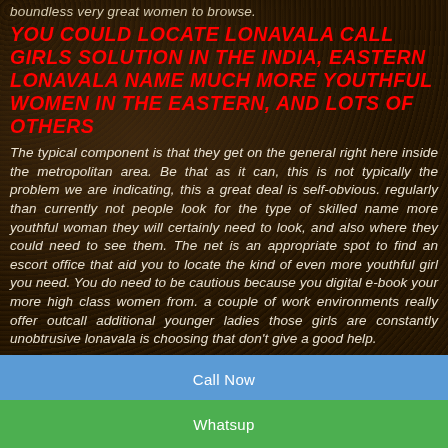boundless very great women to browse.
YOU COULD LOCATE LONAVALA CALL GIRLS SOLUTION IN THE INDIA, EASTERN LONAVALA NAME MUCH MORE YOUTHFUL WOMEN IN THE EASTERN, AND LOTS OF OTHERS
The typical component is that they get on the general right here inside the metropolitan area. Be that as it can, this is not typically the problem we are indicating, this a great deal is self-obvious. regularly than currently not people look for the type of skilled name more youthful woman they will certainly need to look, and also where they could need to see them. The net is an appropriate spot to find an escort office that aid you to locate the kind of even more youthful girl you need. You do need to be cautious because you digital e-book your more high class women from. a couple of work environments really offer outcall additional younger ladies those girls are constantly unobtrusive lonavala is choosing that don't give a good help.
Call Now
Whatsup